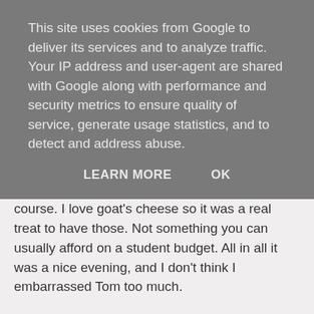This site uses cookies from Google to deliver its services and to analyze traffic. Your IP address and user-agent are shared with Google along with performance and security metrics to ensure quality of service, generate usage statistics, and to detect and address abuse.
LEARN MORE    OK
evening and the wine went on. I had tiger prawns with chilli sauce to start, and goat's cheese tarts with caramelised onions as a main course. I love goat's cheese so it was a real treat to have those. Not something you can usually afford on a student budget. All in all it was a nice evening, and I don't think I embarrassed Tom too much.
Alex Tarling at 11/03/2007 09:08:00 am
Share
No comments: